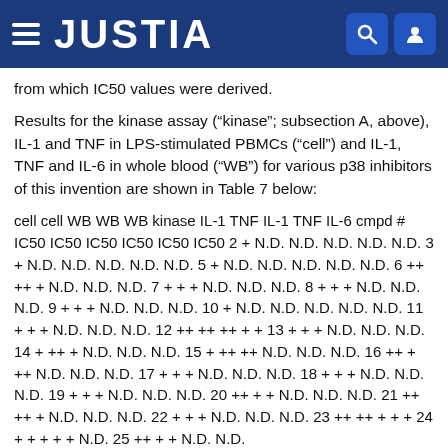JUSTIA
from which IC50 values were derived.
Results for the kinase assay (“kinase”; subsection A, above), IL-1 and TNF in LPS-stimulated PBMCs (“cell”) and IL-1, TNF and IL-6 in whole blood (“WB”) for various p38 inhibitors of this invention are shown in Table 7 below:
cell cell WB WB WB kinase IL-1 TNF IL-1 TNF IL-6 cmpd # IC50 IC50 IC50 IC50 IC50 IC50 2 + N.D. N.D. N.D. N.D. N.D. 3 + N.D. N.D. N.D. N.D. N.D. 5 + N.D. N.D. N.D. N.D. N.D. 6 ++ ++ + N.D. N.D. N.D. 7 + + + N.D. N.D. N.D. 8 + + + N.D. N.D. N.D. 9 + + + N.D. N.D. N.D. 10 + N.D. N.D. N.D. N.D. N.D. 11 + + + N.D. N.D. N.D. 12 ++ ++ ++ + + 13 + + + N.D. N.D. N.D. 14 + ++ + N.D. N.D. N.D. 15 + ++ ++ N.D. N.D. N.D. 16 ++ + ++ N.D. N.D. N.D. 17 + + + N.D. N.D. N.D. 18 + + + N.D. N.D. N.D. 19 + + + N.D. N.D. N.D. 20 ++ + + N.D. N.D. N.D. 21 ++ ++ + N.D. N.D. N.D. 22 + + + N.D. N.D. N.D. 23 ++ ++ + + + 24 + + + + + N.D. 25 ++ + + N.D. N.D.